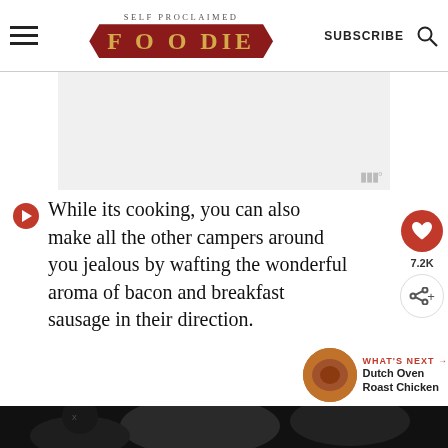SELF PROCLAIMED FOODIE — SUBSCRIBE
[Figure (other): Gray advertisement placeholder box]
While its cooking, you can also make all the other campers around you jealous by wafting the wonderful aroma of bacon and breakfast sausage in their direction.
[Figure (photo): Dark photo strip at bottom of page, partial view of food]
[Figure (other): Mattress Firm advertisement banner: Our best brands. Lowest prices, guaranteed.]